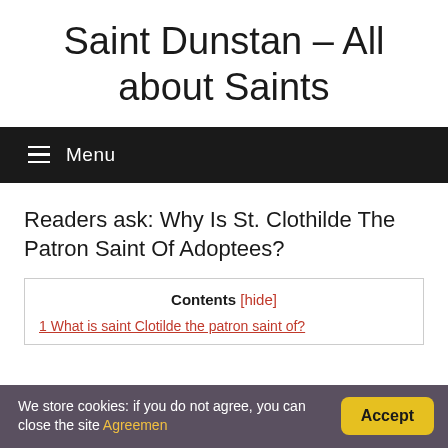Saint Dunstan – All about Saints
Menu
Readers ask: Why Is St. Clothilde The Patron Saint Of Adoptees?
Contents [hide]
1 What is saint Clotilde the patron saint of?
We store cookies: if you do not agree, you can close the site Agreemen
Accept